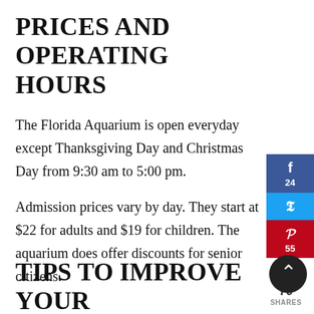PRICES AND OPERATING HOURS
The Florida Aquarium is open everyday except Thanksgiving Day and Christmas Day from 9:30 am to 5:00 pm.
Admission prices vary by day. They start at $22 for adults and $19 for children. The aquarium does offer discounts for senior citizens.
TIPS TO IMPROVE YOUR EXPERIENCE